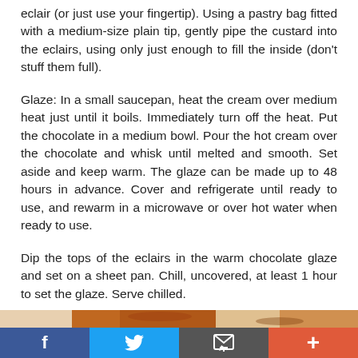eclair (or just use your fingertip). Using a pastry bag fitted with a medium-size plain tip, gently pipe the custard into the eclairs, using only just enough to fill the inside (don't stuff them full).
Glaze: In a small saucepan, heat the cream over medium heat just until it boils. Immediately turn off the heat. Put the chocolate in a medium bowl. Pour the hot cream over the chocolate and whisk until melted and smooth. Set aside and keep warm. The glaze can be made up to 48 hours in advance. Cover and refrigerate until ready to use, and rewarm in a microwave or over hot water when ready to use.
Dip the tops of the eclairs in the warm chocolate glaze and set on a sheet pan. Chill, uncovered, at least 1 hour to set the glaze. Serve chilled.
[Figure (photo): Partial view of eclairs or pastry, cropped at bottom]